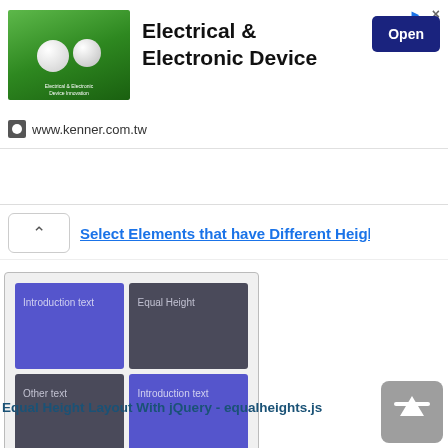[Figure (screenshot): Ad banner for Electrical & Electronic Device from www.kenner.com.tw with Open button]
[Figure (screenshot): Collapsed navigation element with chevron up arrow and partial blue link text]
[Figure (screenshot): Demo layout showing 6 colored boxes (blue and dark grey) arranged in a 2-column 3-row grid demonstrating equal height layout]
Equal Height Layout With jQuery - equalheights.js
[Figure (screenshot): Scroll to top button (grey rounded square with upward arrow)]